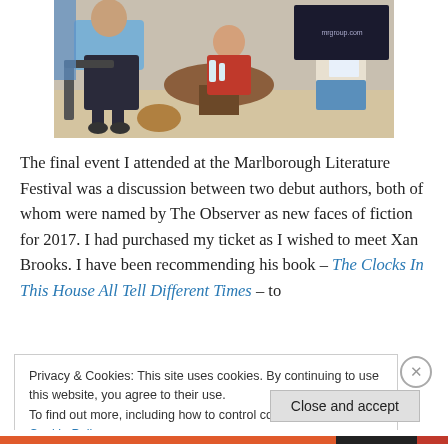[Figure (photo): People seated around a table in a discussion setting at a literature festival event]
The final event I attended at the Marlborough Literature Festival was a discussion between two debut authors, both of whom were named by The Observer as new faces of fiction for 2017. I had purchased my ticket as I wished to meet Xan Brooks. I have been recommending his book – The Clocks In This House All Tell Different Times – to
Privacy & Cookies: This site uses cookies. By continuing to use this website, you agree to their use.
To find out more, including how to control cookies, see here: Cookie Policy
Close and accept